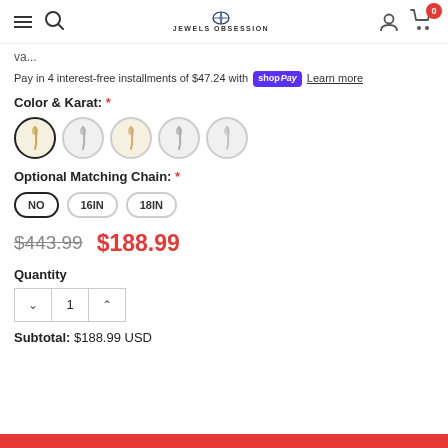Jewels Obsession - navigation header with search, logo, user, and cart icons
va...
Pay in 4 interest-free installments of $47.24 with Shop Pay Learn more
Color & Karat: *
[Figure (other): Five circular color/karat selector buttons showing jewelry pendants in different metal colors (yellow gold, white/silver variants)]
Optional Matching Chain: *
Chain options: NO, 16IN, 18IN
$443.99  $188.99
Quantity
1
Subtotal: $188.99 USD